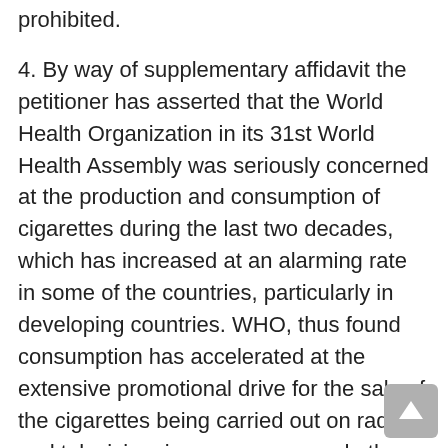prohibited.
4. By way of supplementary affidavit the petitioner has asserted that the World Health Organization in its 31st World Health Assembly was seriously concerned at the production and consumption of cigarettes during the last two decades, which has increased at an alarming rate in some of the countries, particularly in developing countries. WHO, thus found consumption has accelerated at the extensive promotional drive for the sale of the cigarettes being carried out on radio and television, in newspapers and other news media and through association with sporting and cultural events, which has the effect of inducing and perpetuating smoking habits especially among the youth and the women.